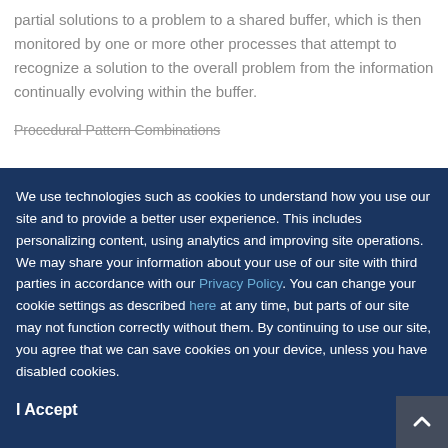partial solutions to a problem to a shared buffer, which is then monitored by one or more other processes that attempt to recognize a solution to the overall problem from the information continually evolving within the buffer.
Procedural Pattern Combinations
We use technologies such as cookies to understand how you use our site and to provide a better user experience. This includes personalizing content, using analytics and improving site operations. We may share your information about your use of our site with third parties in accordance with our Privacy Policy. You can change your cookie settings as described here at any time, but parts of our site may not function correctly without them. By continuing to use our site, you agree that we can save cookies on your device, unless you have disabled cookies.
I Accept